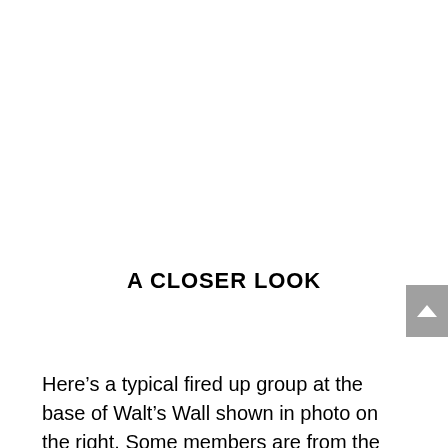A CLOSER LOOK
Here’s a typical fired up group at the base of Walt’s Wall shown in photo on the right. Some members are from the first WM and